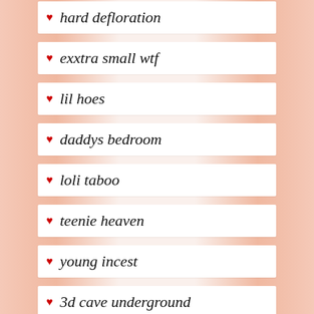hard defloration
exxtra small wtf
lil hoes
daddys bedroom
loli taboo
teenie heaven
young incest
3d cave underground
little lolas
youngest petite